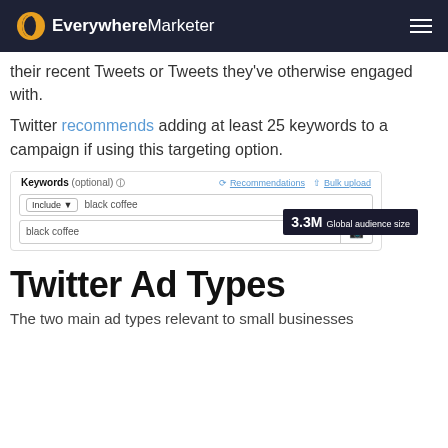EverywhereMarketer
their recent Tweets or Tweets they've otherwise engaged with.
Twitter recommends adding at least 25 keywords to a campaign if using this targeting option.
[Figure (screenshot): Twitter Ads keywords input UI showing 'Keywords (optional)' field with 'Include' dropdown and 'black coffee' entered, with Recommendations and Bulk upload options, and a result row showing 'black coffee' with a 3.3M Global audience size badge.]
Twitter Ad Types
The two main ad types relevant to small businesses